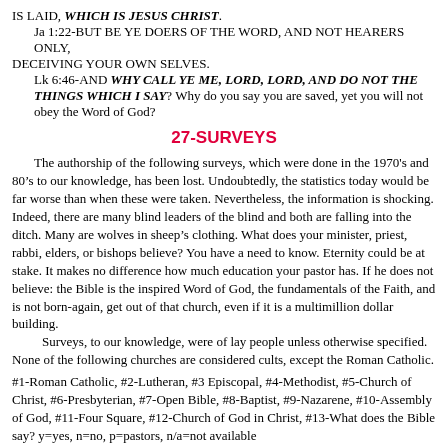IS LAID, WHICH IS JESUS CHRIST.
   Ja 1:22-BUT BE YE DOERS OF THE WORD, AND NOT HEARERS ONLY, DECEIVING YOUR OWN SELVES.
   Lk 6:46-AND WHY CALL YE ME, LORD, LORD, AND DO NOT THE THINGS WHICH I SAY? Why do you say you are saved, yet you will not obey the Word of God?
27-SURVEYS
The authorship of the following surveys, which were done in the 1970’s and 80’s to our knowledge, has been lost. Undoubtedly, the statistics today would be far worse than when these were taken. Nevertheless, the information is shocking. Indeed, there are many blind leaders of the blind and both are falling into the ditch. Many are wolves in sheep’s clothing. What does your minister, priest, rabbi, elders, or bishops believe? You have a need to know. Eternity could be at stake. It makes no difference how much education your pastor has. If he does not believe: the Bible is the inspired Word of God, the fundamentals of the Faith, and is not born-again, get out of that church, even if it is a multimillion dollar building.
   Surveys, to our knowledge, were of lay people unless otherwise specified. None of the following churches are considered cults, except the Roman Catholic.
#1-Roman Catholic, #2-Lutheran, #3 Episcopal, #4-Methodist, #5-Church of Christ, #6-Presbyterian, #7-Open Bible, #8-Baptist, #9-Nazarene, #10-Assembly of God, #11-Four Square, #12-Church of God in Christ, #13-What does the Bible say? y=yes, n=no, p=pastors, n/a=not available
|  |  |  |  |  | 5 |  |  | 8 | 10 |
| --- | --- | --- | --- | --- | --- | --- | --- | --- | --- |
|  |